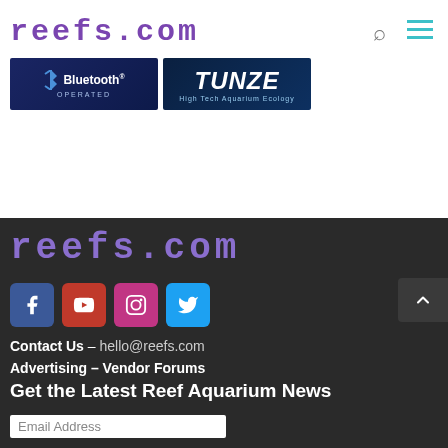reefs.com
[Figure (photo): Advertisement banner: Bluetooth Operated device ad (dark blue background)]
[Figure (photo): Advertisement banner: TUNZE High Tech Aquarium Ecology ad (dark blue background)]
[Figure (logo): reefs.com logo in pixel/dot font style, purple color, on dark background]
[Figure (illustration): Social media icons: Facebook (blue), YouTube (red), Instagram (pink/purple), Twitter (light blue)]
Contact Us – hello@reefs.com
Advertising – Vendor Forums
Get the Latest Reef Aquarium News
Email Address